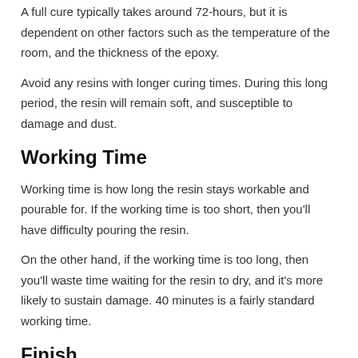A full cure typically takes around 72-hours, but it is dependent on other factors such as the temperature of the room, and the thickness of the epoxy.
Avoid any resins with longer curing times. During this long period, the resin will remain soft, and susceptible to damage and dust.
Working Time
Working time is how long the resin stays workable and pourable for. If the working time is too short, then you'll have difficulty pouring the resin.
On the other hand, if the working time is too long, then you'll waste time waiting for the resin to dry, and it's more likely to sustain damage. 40 minutes is a fairly standard working time.
Finish